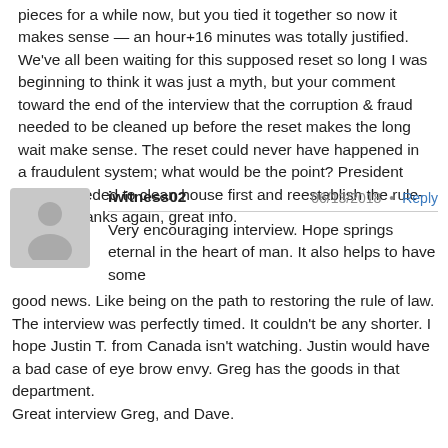pieces for a while now, but you tied it together so now it makes sense — an hour+16 minutes was totally justified. We've all been waiting for this supposed reset so long I was beginning to think it was just a myth, but your comment toward the end of the interview that the corruption & fraud needed to be cleaned up before the reset makes the long wait make sense. The reset could never have happened in a fraudulent system; what would be the point? President Trump needed to clean house first and reestablish the rule-of-law. Thanks again, great info.
iwitness02   06/13/2018 • Reply
Very encouraging interview. Hope springs eternal in the heart of man. It also helps to have some good news. Like being on the path to restoring the rule of law. The interview was perfectly timed. It couldn't be any shorter. I hope Justin T. from Canada isn't watching. Justin would have a bad case of eye brow envy. Greg has the goods in that department.
Great interview Greg, and Dave.